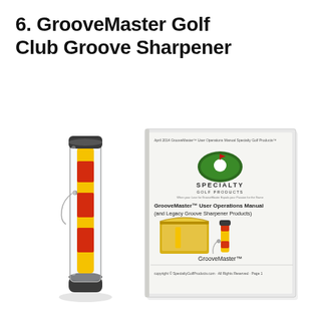6. GrooveMaster Golf Club Groove Sharpener
[Figure (photo): Product photo showing a GrooveMaster Golf Club Groove Sharpener in a clear cylindrical tube container (yellow and red sharpener tool) on the left, and the GrooveMaster User Operations Manual booklet on the right featuring the Specialty Golf Products logo, product images, and text 'GrooveMaster™ User Operations Manual (and Legacy Groove Sharpener Products)' and 'GrooveMaster™'.]